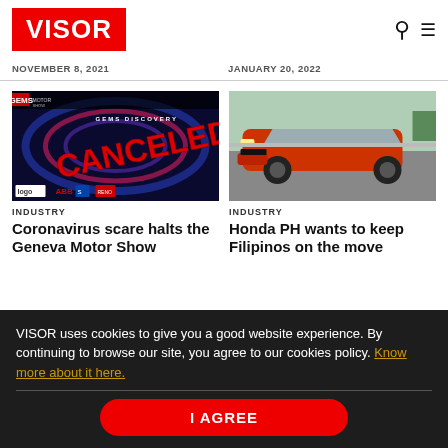VISOR
NOVEMBER 8, 2021
JANUARY 20, 2022
[Figure (photo): GEMS Discovery Motor Show banner with CANCELED stamp in red overlaid on a dark blue background with swirling light effects and sponsor logos (ABB and others)]
INDUSTRY
Coronavirus scare halts the Geneva Motor Show
[Figure (photo): Red Honda Brio subcompact car driving on a highway road, front three-quarter view]
INDUSTRY
Honda PH wants to keep Filipinos on the move
VISOR uses cookies to give you a good website experience. By continuing to browse our site, you agree to our cookies policy. Know more about it here.